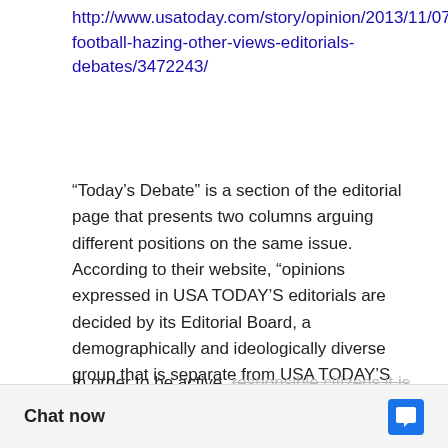http://www.usatoday.com/story/opinion/2013/11/07/nfl-football-hazing-other-views-editorials-debates/3472243/
“Today’s Debate” is a section of the editorial page that presents two columns arguing different positions on the same issue. According to their website, “opinions expressed in USA TODAY’S editorials are decided by its Editorial Board, a demographically and ideologically diverse group that is separate from USA TODAY’S news staff. Most editorials are accompanied by an opposing view—a unique USA TODAY feature that allows readers to reach conclusions based on both sides of an argument rather than just the Editorial Board’s point of view.”
In order to be active, responsible citizens it is important that people debates, figuring out